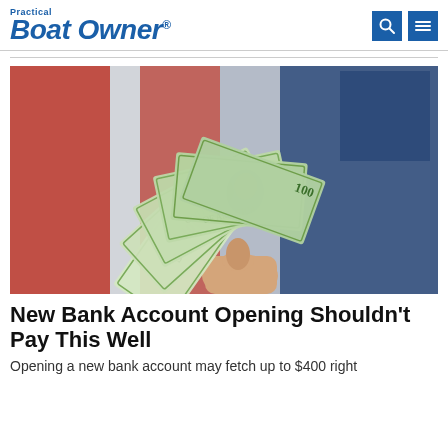Practical Boat Owner
[Figure (photo): A hand holding a fan of US dollar bills spread out against a blurred red, white and blue background.]
New Bank Account Opening Shouldn't Pay This Well
Opening a new bank account may fetch up to $400 right